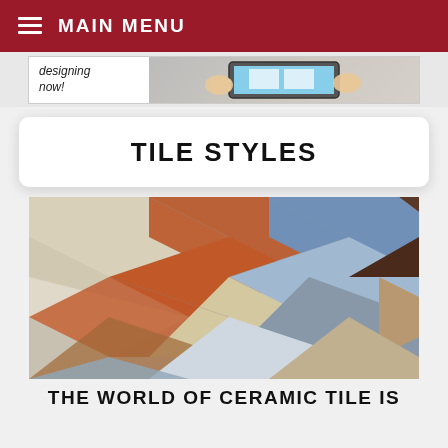≡ MAIN MENU
[Figure (photo): Website banner advertisement showing text 'designing now!' on the left and hands interacting with a tablet on the right]
TILE STYLES
[Figure (photo): Photograph of multiple ceramic tile samples arranged in a zigzag/chevron pattern, showing various colors including beige, orange/terracotta, blue, brown/dark, and wood-grain textures]
THE WORLD OF CERAMIC TILE IS